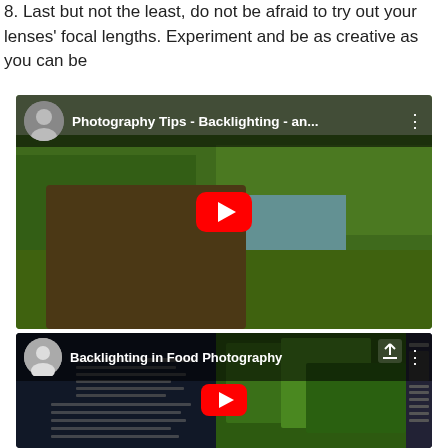8. Last but not the least, do not be afraid to try out your lenses' focal lengths. Experiment and be as creative as you can be
[Figure (screenshot): YouTube video thumbnail: 'Photography Tips - Backlighting - an...' with two people standing outdoors near a pond, one holding a camera. Red YouTube play button in center.]
[Figure (screenshot): YouTube video thumbnail: 'Backlighting in Food Photography' showing green herbs/plants and a photo editing software panel on the right. Red YouTube play button visible.]